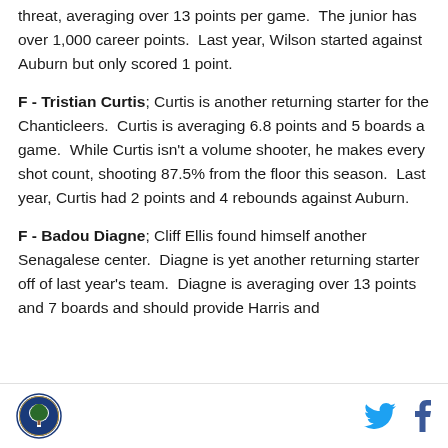threat, averaging over 13 points per game.  The junior has over 1,000 career points.  Last year, Wilson started against Auburn but only scored 1 point.
F - Tristian Curtis; Curtis is another returning starter for the Chanticleers.  Curtis is averaging 6.8 points and 5 boards a game.  While Curtis isn't a volume shooter, he makes every shot count, shooting 87.5% from the floor this season.  Last year, Curtis had 2 points and 4 rebounds against Auburn.
F - Badou Diagne; Cliff Ellis found himself another Senagalese center.  Diagne is yet another returning starter off of last year's team.  Diagne is averaging over 13 points and 7 boards and should provide Harris and
[logo] [twitter] [facebook]